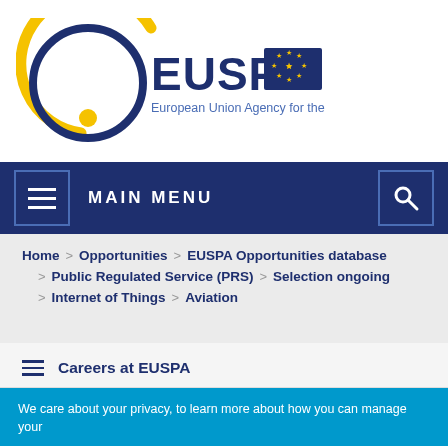[Figure (logo): EUSPA logo: circular blue and yellow ring with EUSPA text and EU flag, subtitle 'European Union Agency for the Space Programme']
MAIN MENU
Home > Opportunities > EUSPA Opportunities database > Public Regulated Service (PRS) > Selection ongoing > Internet of Things > Aviation
Careers at EUSPA
We care about your privacy, to learn more about how you can manage your